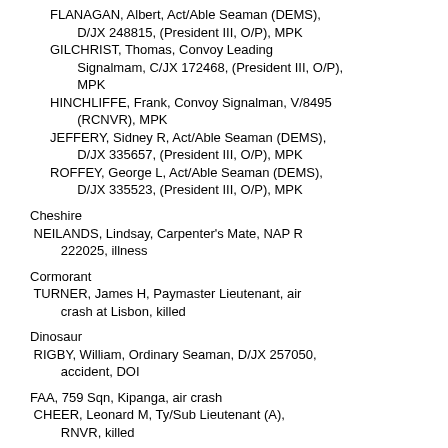FLANAGAN, Albert, Act/Able Seaman (DEMS), D/JX 248815, (President III, O/P), MPK
GILCHRIST, Thomas, Convoy Leading Signalmam, C/JX 172468, (President III, O/P), MPK
HINCHLIFFE, Frank, Convoy Signalman, V/8495 (RCNVR), MPK
JEFFERY, Sidney R, Act/Able Seaman (DEMS), D/JX 335657, (President III, O/P), MPK
ROFFEY, George L, Act/Able Seaman (DEMS), D/JX 335523, (President III, O/P), MPK
Cheshire
NEILANDS, Lindsay, Carpenter's Mate, NAP R 222025, illness
Cormorant
TURNER, James H, Paymaster Lieutenant, air crash at Lisbon, killed
Dinosaur
RIGBY, William, Ordinary Seaman, D/JX 257050, accident, DOI
FAA, 759 Sqn, Kipanga, air crash
CHEER, Leonard M, Ty/Sub Lieutenant (A), RNVR, killed
Havock
ROYDS, Robert D, Ty/Surgeon Lieutenant,